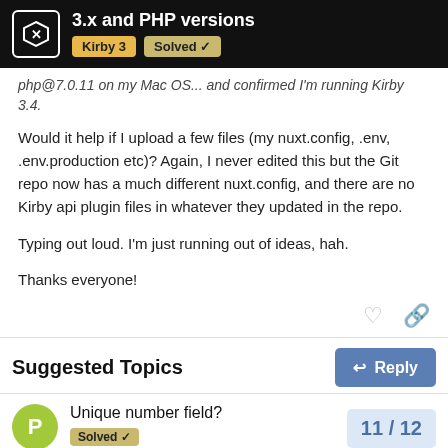3.x and PHP versions — Kirby 3 | Solved
php@7.0.11 on my Mac OS... and confirmed I'm running Kirby 3.4.
Would it help if I upload a few files (my nuxt.config, .env, .env.production etc)? Again, I never edited this but the Git repo now has a much different nuxt.config, and there are no Kirby api plugin files in whatever they updated in the repo.

Typing out loud. I'm just running out of ideas, hah.

Thanks everyone!
Suggested Topics
Unique number field?
11 / 12